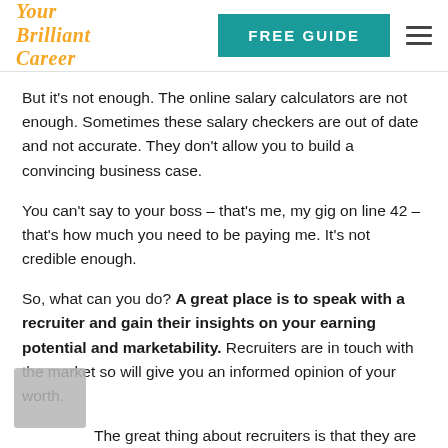[Figure (logo): Your Brilliant Career logo in orange italic script]
[Figure (other): FREE GUIDE button in teal/dark cyan background with white bold text]
But it's not enough. The online salary calculators are not enough. Sometimes these salary checkers are out of date and not accurate. They don't allow you to build a convincing business case.
You can't say to your boss – that's me, my gig on line 42 – that's how much you need to be paying me. It's not credible enough.
So, what can you do? A great place is to speak with a recruiter and gain their insights on your earning potential and marketability. Recruiters are in touch with the market so will give you an informed opinion of your worth.
The great thing about recruiters is that they are privy to information that you won't be. Salaries are always